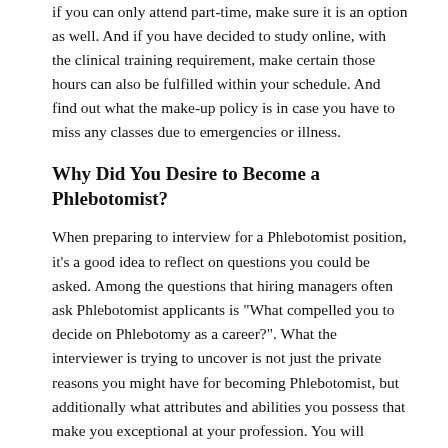if you can only attend part-time, make sure it is an option as well. And if you have decided to study online, with the clinical training requirement, make certain those hours can also be fulfilled within your schedule. And find out what the make-up policy is in case you have to miss any classes due to emergencies or illness.
Why Did You Desire to Become a Phlebotomist?
When preparing to interview for a Phlebotomist position, it's a good idea to reflect on questions you could be asked. Among the questions that hiring managers often ask Phlebotomist applicants is "What compelled you to decide on Phlebotomy as a career?". What the interviewer is trying to uncover is not just the private reasons you might have for becoming Phlebotomist, but additionally what attributes and abilities you possess that make you exceptional at your profession. You will undoubtedly be asked questions pertaining similarly to Phlebotomy in addition to significant...